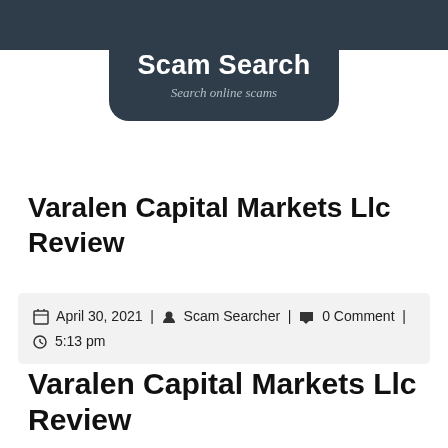[Figure (logo): Scam Search website logo with dark background, menu and search icons, and subtitle 'Search online scams']
Varalen Capital Markets Llc Review
April 30, 2021 | Scam Searcher | 0 Comment | 5:13 pm
Varalen Capital Markets Llc Review
+ Table of contents
If you're reading this Varalen Capital Markets Llc Review, most likely you are wondering about a